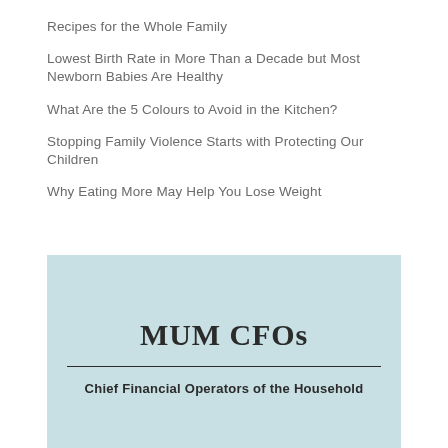Recipes for the Whole Family
Lowest Birth Rate in More Than a Decade but Most Newborn Babies Are Healthy
What Are the 5 Colours to Avoid in the Kitchen?
Stopping Family Violence Starts with Protecting Our Children
Why Eating More May Help You Lose Weight
[Figure (other): Light blue banner with bold serif title 'MUM CFOs', a horizontal rule, and subtitle 'Chief Financial Operators of the Household' in bold sans-serif.]